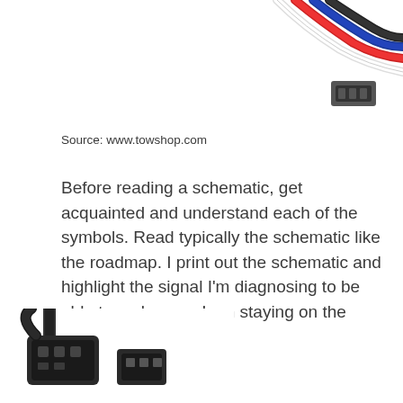[Figure (photo): Partial view of colored electrical wires/cables (white, red, black, blue) bundled together, cropped at top-right of page]
Source: www.towshop.com
Before reading a schematic, get acquainted and understand each of the symbols. Read typically the schematic like the roadmap. I print out the schematic and highlight the signal I’m diagnosing to be able to make sure I am staying on the particular path.
[Figure (photo): Partial view of electrical connectors/components, dark colored, at bottom-left of page, cropped]